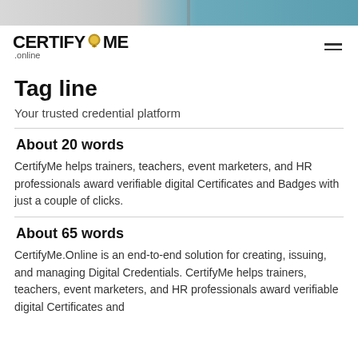[Figure (photo): Top strip showing partial image with grey and teal/blue tones, cropped person in background]
CERTIFYME .online
Tag line
Your trusted credential platform
About 20 words
CertifyMe helps trainers, teachers, event marketers, and HR professionals award verifiable digital Certificates and Badges with just a couple of clicks.
About 65 words
CertifyMe.Online is an end-to-end solution for creating, issuing, and managing Digital Credentials. CertifyMe helps trainers, teachers, event marketers, and HR professionals award verifiable digital Certificates and